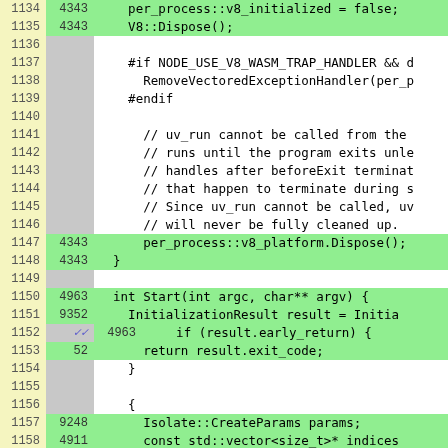[Figure (screenshot): Code viewer screenshot showing C++ source lines 1134-1159 with line numbers, execution counts, and syntax-highlighted code. Green highlighting on executed lines, grey on unexecuted, white background on comment/empty lines.]